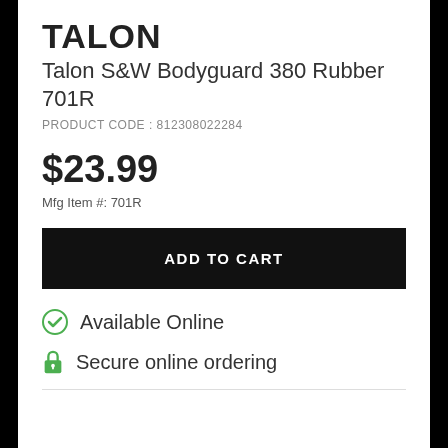TALON
Talon S&W Bodyguard 380 Rubber 701R
PRODUCT CODE : 812308022284
$23.99
Mfg Item #: 701R
ADD TO CART
Available Online
Secure online ordering